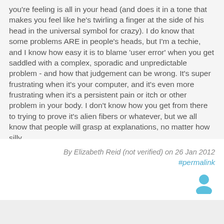you're feeling is all in your head (and does it in a tone that makes you feel like he's twirling a finger at the side of his head in the universal symbol for crazy). I do know that some problems ARE in people's heads, but I'm a techie, and I know how easy it is to blame 'user error' when you get saddled with a complex, sporadic and unpredictable problem - and how that judgement can be wrong. It's super frustrating when it's your computer, and it's even more frustrating when it's a persistent pain or itch or other problem in your body. I don't know how you get from there to trying to prove it's alien fibers or whatever, but we all know that people will grasp at explanations, no matter how silly.
Log in to post comments
By Elizabeth Reid (not verified) on 26 Jan 2012
#permalink
[Figure (illustration): User avatar icon in light blue/teal color]